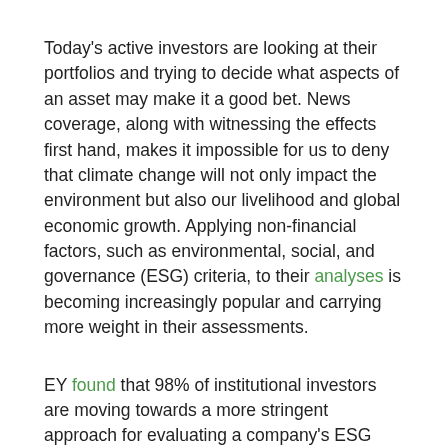Today's active investors are looking at their portfolios and trying to decide what aspects of an asset may make it a good bet. News coverage, along with witnessing the effects first hand, makes it impossible for us to deny that climate change will not only impact the environment but also our livelihood and global economic growth. Applying non-financial factors, such as environmental, social, and governance (ESG) criteria, to their analyses is becoming increasingly popular and carrying more weight in their assessments.
EY found that 98% of institutional investors are moving towards a more stringent approach for evaluating a company's ESG performance. Similarly, 85% of individual investors want sustainable investment options, according to a report from Morgan Stanley – but what are they doing?